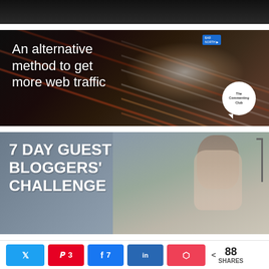[Figure (photo): Partial top image showing a dark background with a person partially visible]
[Figure (photo): Ad banner: 'An alternative method to get more web traffic' with nighttime highway light trails and a The Commenting Club logo bubble]
[Figure (photo): Banner: '7 DAY GUEST BLOGGERS' CHALLENGE' with a woman holding a coffee mug on a gray-blue background]
[Figure (photo): Partial green banner starting with 'Wanna get noticed?']
Tweet | 3 | 7 | in | Pocket | < 88 SHARES